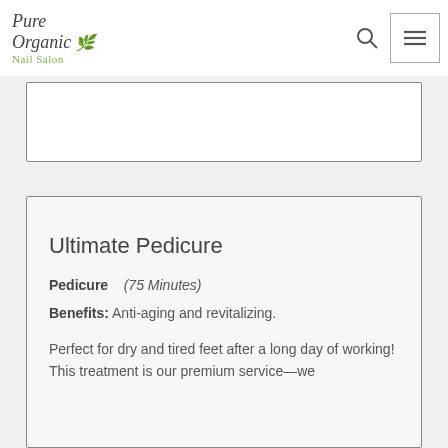Pure Organic Nail Salon
Ultimate Pedicure
Pedicure   (75 Minutes)
Benefits: Anti-aging and revitalizing.
Perfect for dry and tired feet after a long day of working! This treatment is our premium service—we